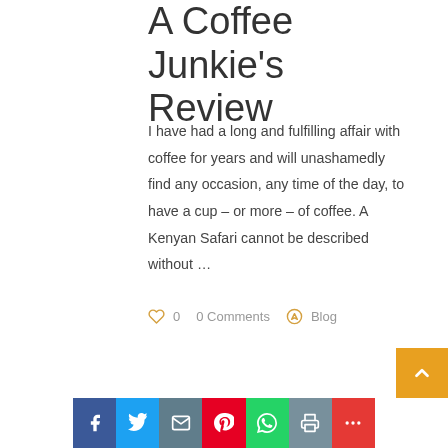A Coffee Junkie's Review
I have had a long and fulfilling affair with coffee for years and will unashamedly find any occasion, any time of the day, to have a cup – or more – of coffee. A Kenyan Safari cannot be described without …
0   0 Comments   Blog
[Figure (infographic): Back to top arrow button (orange/gold background with white up chevron)]
[Figure (infographic): Social sharing bar with Facebook, Twitter, Email, Pinterest, WhatsApp, Print, and More buttons]